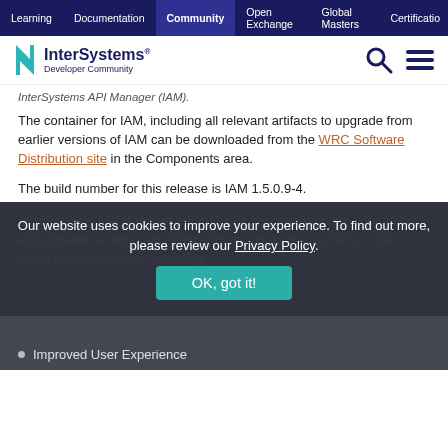Learning | Documentation | Community | Open Exchange | Global Masters | Certification
[Figure (logo): InterSystems Developer Community logo with teal bracket icon]
InterSystems API Manager (IAM).
The container for IAM, including all relevant artifacts to upgrade from earlier versions of IAM can be downloaded from the WRC Software Distribution site in the Components area.
The build number for this release is IAM 1.5.0.9-4.
InterSystems API Manager 1.5 makes it easier to manage your APIs and provides a better experience for the users of your APIs. It has many new capabilities, including:
Our website uses cookies to improve your experience. To find out more, please review our Privacy Policy.
Improved User Experience